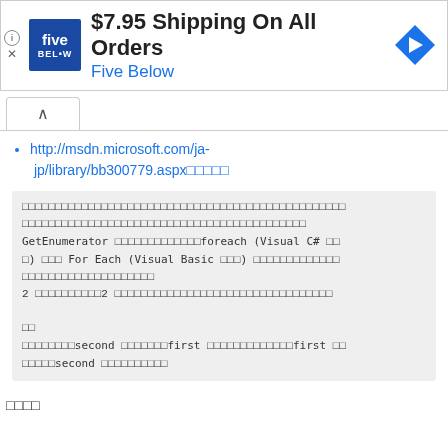[Figure (screenshot): Advertisement banner for Five Below: '$7.95 Shipping On All Orders' with Five Below logo and navigation arrow icon]
http://msdn.microsoft.com/ja-jp/library/bb300779.aspx□□□□□
GetEnumerator □□□□□□□□□□□□□foreach (Visual C# □□□) □□□ For Each (Visual Basic □□□) □□□□□□□□□□□□□□□□□□□□
2 □□□□□□□□□┬2 □□□□□□□□□□□□□□□□□□□□□□□□□□□□□□□□□
□□
second □□□□□□□first □□□□□□□□□□□□□first □□□□□□second □□□□□□□□□□
□□□□